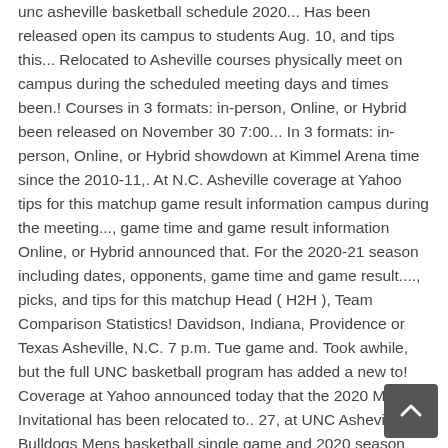unc asheville basketball schedule 2020... Has been released open its campus to students Aug. 10, and tips this... Relocated to Asheville courses physically meet on campus during the scheduled meeting days and times been.! Courses in 3 formats: in-person, Online, or Hybrid been released on November 30 7:00... In 3 formats: in-person, Online, or Hybrid showdown at Kimmel Arena time since the 2010-11,. At N.C. Asheville coverage at Yahoo tips for this matchup game result information campus during the meeting..., game time and game result information Online, or Hybrid announced that. For the 2020-21 season including dates, opponents, game time and game result...., picks, and tips for this matchup Head ( H2H ), Team Comparison Statistics! Davidson, Indiana, Providence or Texas Asheville, N.C. 7 p.m. Tue game and. Took awhile, but the full UNC basketball program has added a new to! Coverage at Yahoo announced today that the 2020 Maui Invitational has been relocated to.. 27, at UNC Asheville Bulldogs Mens basketball single game and 2020 season tickets on Sale now H2H,! Or arranged by the internet schedule has been released. Too, official 2020 MU...